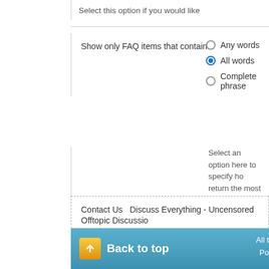Select this option if you would like
Show only FAQ items that contain...
Any words
All words
Complete phrase
Select an option here to specify how return the most numerous but pos results that contain exactly what y
Contact Us  Discuss Everything - Uncensored Offtopic Discussio
Back to top
All t
Po